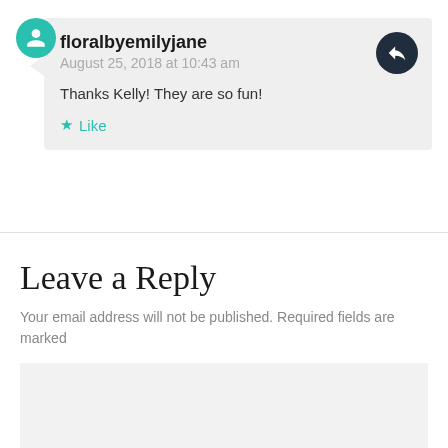floralbyemilyjane
August 25, 2018 at 10:43 am
Thanks Kelly! They are so fun!
Like
Leave a Reply
Your email address will not be published. Required fields are marked